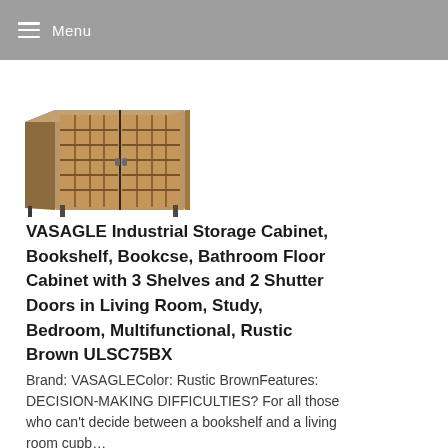Menu
[Figure (photo): Partial view of a VASAGLE industrial storage cabinet with rustic brown wood finish and shutter doors, photographed from a slight angle showing the top and side.]
VASAGLE Industrial Storage Cabinet, Bookshelf, Bookcse, Bathroom Floor Cabinet with 3 Shelves and 2 Shutter Doors in Living Room, Study, Bedroom, Multifunctional, Rustic Brown ULSC75BX
Brand: VASAGLEColor: Rustic BrownFeatures: DECISION-MAKING DIFFICULTIES? For all those who can't decide between a bookshelf and a living room cupb…